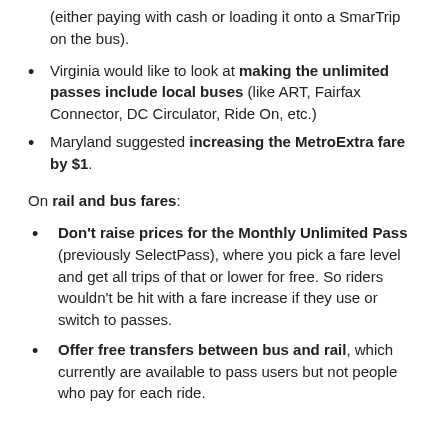(either paying with cash or loading it onto a SmarTrip on the bus).
Virginia would like to look at making the unlimited passes include local buses (like ART, Fairfax Connector, DC Circulator, Ride On, etc.)
Maryland suggested increasing the MetroExtra fare by $1.
On rail and bus fares:
Don't raise prices for the Monthly Unlimited Pass (previously SelectPass), where you pick a fare level and get all trips of that or lower for free. So riders wouldn't be hit with a fare increase if they use or switch to passes.
Offer free transfers between bus and rail, which currently are available to pass users but not people who pay for each ride.